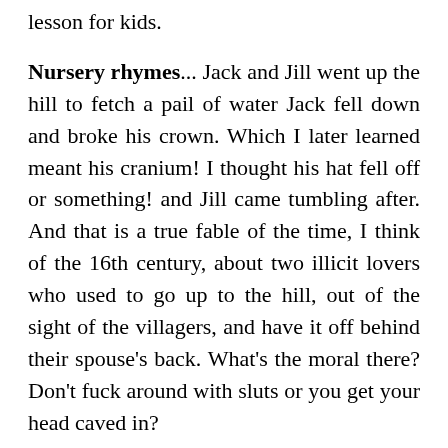lesson for kids.
Nursery rhymes... Jack and Jill went up the hill to fetch a pail of water Jack fell down and broke his crown. Which I later learned meant his cranium! I thought his hat fell off or something! and Jill came tumbling after. And that is a true fable of the time, I think of the 16th century, about two illicit lovers who used to go up to the hill, out of the sight of the villagers, and have it off behind their spouse's back. What's the moral there? Don't fuck around with sluts or you get your head caved in?
I've never worked out what the moral of Humpty Dumpty is. I can only think of: Don't sit on a wall if